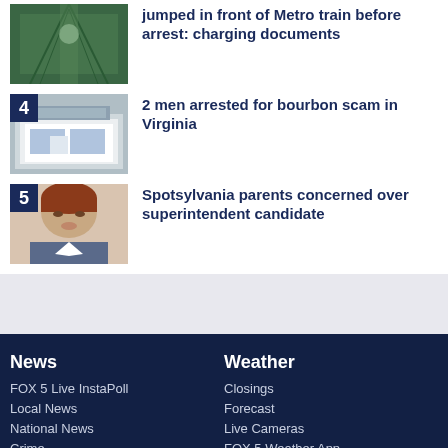jumped in front of Metro train before arrest: charging documents
4 2 men arrested for bourbon scam in Virginia
5 Spotsylvania parents concerned over superintendent candidate
News
FOX 5 Live InstaPoll
Local News
National News
Crime
Health
Weather
Closings
Forecast
Live Cameras
FOX 5 Weather App
Traffic